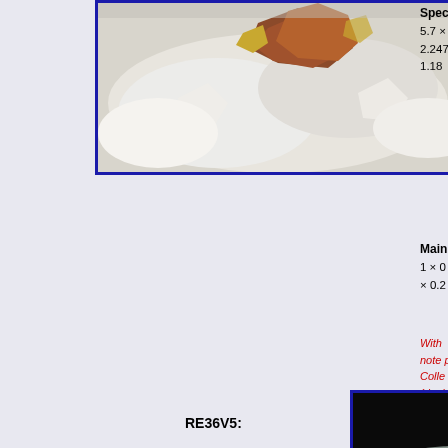[Figure (photo): Close-up photograph of a mineral specimen with reddish-brown crystals on white matrix, bordered in blue]
Spec 5.7 × 2.247 1.18
Main 1 × 0 × 0.2
With note please Collection (dupl
Mino long
RE36V5:
[Figure (photo): Photograph of a mineral specimen against a black background]